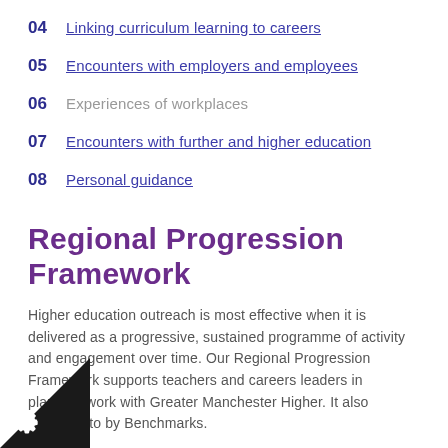04  Linking curriculum learning to careers
05  Encounters with employers and employees
06  Experiences of workplaces
07  Encounters with further and higher education
08  Personal guidance
Regional Progression Framework
Higher education outreach is most effective when it is delivered as a progressive, sustained programme of activity and engagement over time. Our Regional Progression Framework supports teachers and careers leaders in planning work with Greater Manchester Higher. It also connects to by Benchmarks.